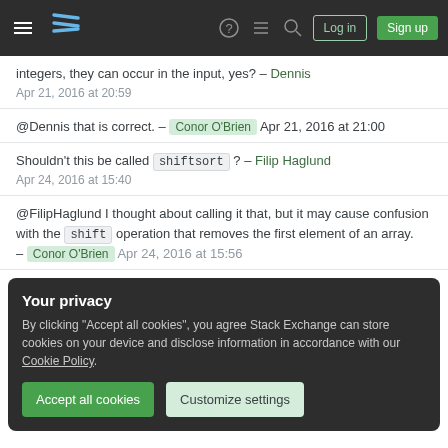Stack Exchange navigation bar with hamburger menu, logo, help, chat, search icons, Log in and Sign up buttons
integers, they can occur in the input, yes? – Dennis Apr 21, 2016 at 20:59
@Dennis that is correct. – Conor O'Brien Apr 21, 2016 at 21:00
Shouldn't this be called shiftsort ? – Filip Haglund Apr 24, 2016 at 15:40
@FilipHaglund I thought about calling it that, but it may cause confusion with the shift operation that removes the first element of an array. – Conor O'Brien Apr 24, 2016 at 15:56
Your privacy
By clicking "Accept all cookies", you agree Stack Exchange can store cookies on your device and disclose information in accordance with our Cookie Policy.
Accept all cookies
Customize settings